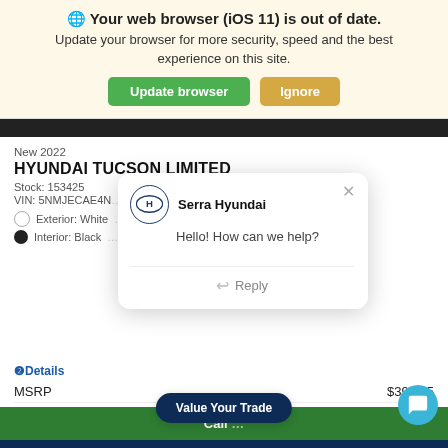Your web browser (iOS 11) is out of date.
Update your browser for more security, speed and the best experience on this site.
New 2022
HYUNDAI TUCSON LIMITED
Stock: 153425
VIN: 5NMJECAE4N
Exterior: White
Interior: Black
[Figure (screenshot): Chat popup from Serra Hyundai with message 'Hello! How can we help?' and a Reply button]
Details
MSRP $39,275
Call
Value Your Trade
EXPLORE PAYMENTS